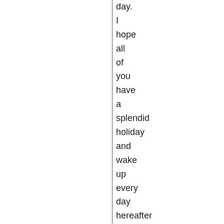day. I hope all of you have a splendid holiday and wake up every day hereafter and feel thankful that you did